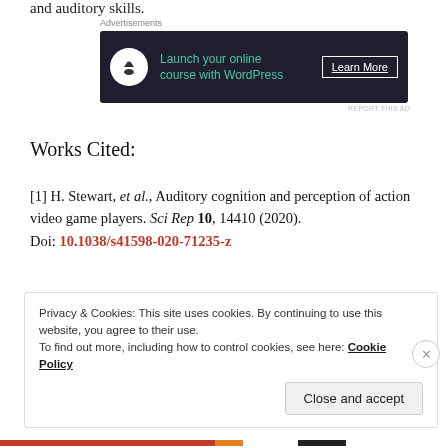and auditory skills.
[Figure (other): Advertisement banner: 'Launch your online course with WordPress' with Learn More button and bonsai tree icon on dark background]
Works Cited:
[1] H. Stewart, et al., Auditory cognition and perception of action video game players. Sci Rep 10, 14410 (2020). Doi: 10.1038/s41598-020-71235-z
Privacy & Cookies: This site uses cookies. By continuing to use this website, you agree to their use.
To find out more, including how to control cookies, see here: Cookie Policy